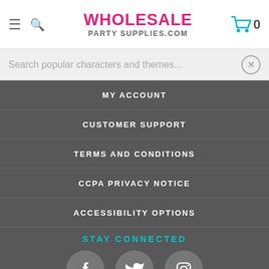WHOLESALE PARTY SUPPLIES.COM — header with hamburger menu, search icon, logo, cart icon (0)
Search popular characters and themes...
MY ACCOUNT
CUSTOMER SUPPORT
TERMS AND CONDITIONS
CCPA PRIVACY NOTICE
ACCESSIBILITY OPTIONS
STAY CONNECTED
[Figure (infographic): Social media icons: Facebook, Twitter, Instagram (top row); Pinterest, Google+ (bottom row) — each inside a grey circle]